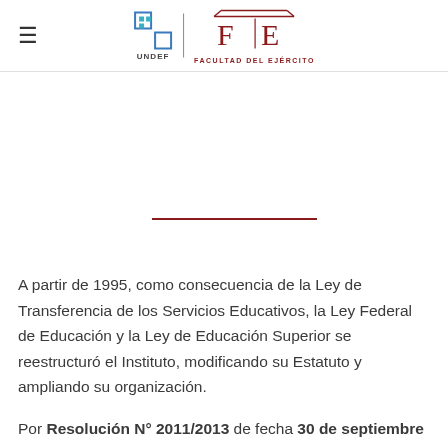≡  UNDEF | FACULTAD DEL EJÉRCITO
[Figure (other): Decorative horizontal red/maroon divider line centered on page]
A partir de 1995, como consecuencia de la Ley de Transferencia de los Servicios Educativos, la Ley Federal de Educación y la Ley de Educación Superior se reestructuró el Instituto, modificando su Estatuto y ampliando su organización.
Por Resolución N° 2011/2013 de fecha 30 de septiembre de